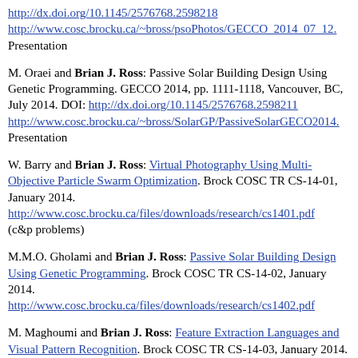http://dx.doi.org/10.1145/2576768.2598218 http://www.cosc.brocku.ca/~bross/psoPhotos/GECCO_2014_07_12. Presentation
M. Oraei and Brian J. Ross: Passive Solar Building Design Using Genetic Programming. GECCO 2014, pp. 1111-1118, Vancouver, BC, July 2014. DOI: http://dx.doi.org/10.1145/2576768.2598211 http://www.cosc.brocku.ca/~bross/SolarGP/PassiveSolarGECO2014. Presentation
W. Barry and Brian J. Ross: Virtual Photography Using Multi-Objective Particle Swarm Optimization. Brock COSC TR CS-14-01, January 2014. http://www.cosc.brocku.ca/files/downloads/research/cs1401.pdf (c&p problems)
M.M.O. Gholami and Brian J. Ross: Passive Solar Building Design Using Genetic Programming. Brock COSC TR CS-14-02, January 2014. http://www.cosc.brocku.ca/files/downloads/research/cs1402.pdf
M. Maghoumi and Brian J. Ross: Feature Extraction Languages and Visual Pattern Recognition. Brock COSC TR CS-14-03, January 2014. http://www.cosc.brocku.ca/files/downloads/research/cs1403.pdf